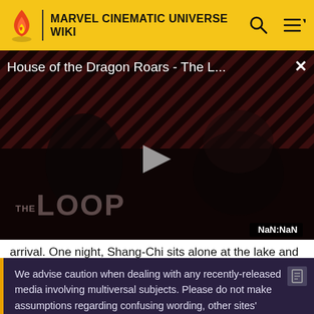MARVEL CINEMATIC UNIVERSE WIKI
[Figure (screenshot): Video player showing 'House of the Dragon Roars - The L...' with a dark cinematic thumbnail featuring two figures, a play button, 'THE LOOP' text overlay, and a NaN:NaN timestamp badge]
arrival. One night, Shang-Chi sits alone at the lake and
We advise caution when dealing with any recently-released media involving multiversal subjects. Please do not make assumptions regarding confusing wording, other sites' speculation, and people's headcanon around the internet.